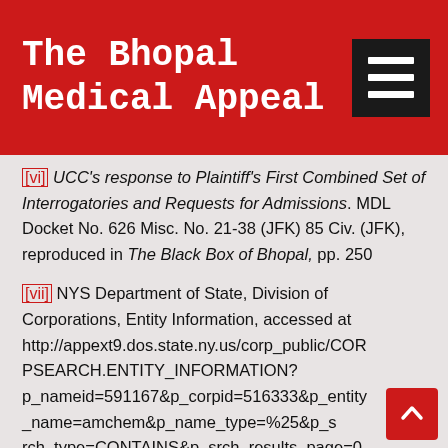The Bhopal Medical Appeal
[vi] UCC's response to Plaintiff's First Combined Set of Interrogatories and Requests for Admissions. MDL Docket No. 626 Misc. No. 21-38 (JFK) 85 Civ. (JFK), reproduced in The Black Box of Bhopal, pp. 250
[vii] NYS Department of State, Division of Corporations, Entity Information, accessed at http://appext9.dos.state.ny.us/corp_public/CORPSEARCH.ENTITY_INFORMATION?p_nameid=591167&p_corpid=516333&p_entity_name=amchem&p_name_type=%25&p_srch_type=CONTAINS&p_srch_results_page=0